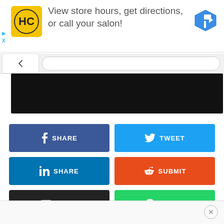[Figure (screenshot): Advertisement banner with HC logo and text 'View store hours, get directions, or call your salon!' with a navigation arrow icon]
[Figure (screenshot): Browser tab bar with back arrow tab and address bar]
[Figure (screenshot): Black content bar (video or image area)]
[Figure (screenshot): Social sharing buttons: Facebook Share, Tweet, LinkedIn Share, Reddit Submit, Email, WhatsApp Share]
[Figure (screenshot): Bottom bar with close X circle button]